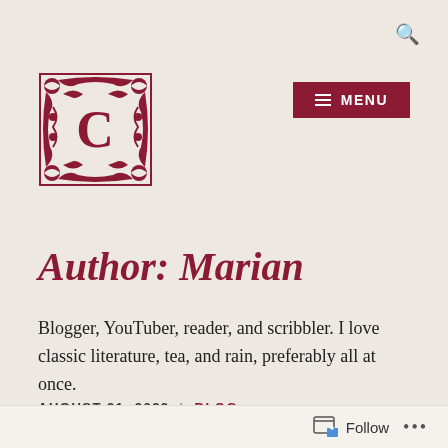🔍
[Figure (logo): Ornate red decorative square frame with floral baroque border and large letter C in the center]
≡ MENU
Author: Marian
Blogger, YouTuber, reader, and scribbler. I love classic literature, tea, and rain, preferably all at once.
AUGUST 21, 2022 | BLOG
Follow ...